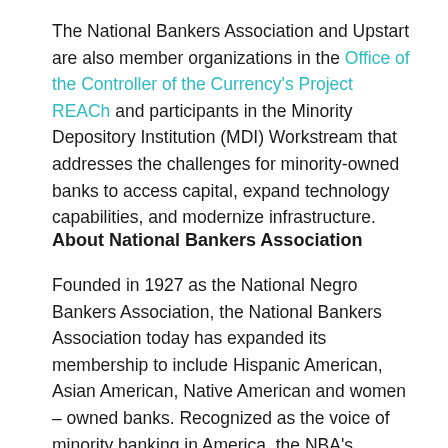The National Bankers Association and Upstart are also member organizations in the Office of the Controller of the Currency's Project REACh and participants in the Minority Depository Institution (MDI) Workstream that addresses the challenges for minority-owned banks to access capital, expand technology capabilities, and modernize infrastructure.
About National Bankers Association
Founded in 1927 as the National Negro Bankers Association, the National Bankers Association today has expanded its membership to include Hispanic American, Asian American, Native American and women – owned banks. Recognized as the voice of minority banking in America, the NBA's mission is to create an inclusive financial services industry and a vibrant business environment for minority financial